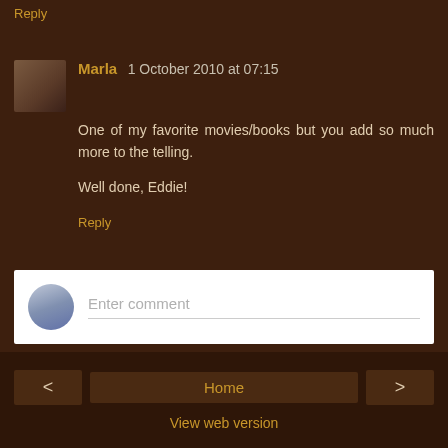Reply
Marla 1 October 2010 at 07:15
One of my favorite movies/books but you add so much more to the telling.

Well done, Eddie!
Reply
Enter comment
Thank you for your comment. You are most welcome to my humble abode.
< Home > View web version